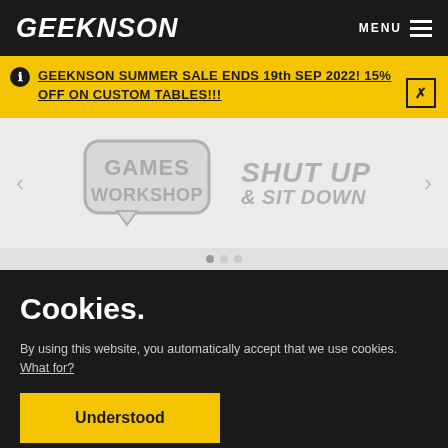GEEKNSON
MENU
GEEKNSON SUMMER SALE ENDS 19th SEP 2022! 15% OFF ON CUSTOM TABLES!!!
[Figure (logo): Games Workshop logo (gray outlined bubble letters) and Shut Up & Sit Down logo (gray bold italic text), part of a carousel with left/right arrows]
Cookies.
By using this website, you automatically accept that we use cookies. What for?
Understood